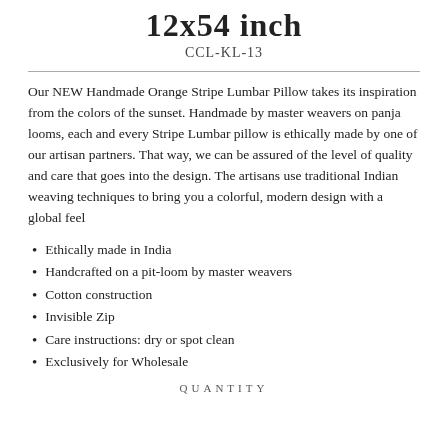12x54 inch
CCL-KL-13
Our NEW Handmade Orange Stripe Lumbar Pillow takes its inspiration from the colors of the sunset. Handmade by master weavers on panja looms, each and every Stripe Lumbar pillow is ethically made by one of our artisan partners. That way, we can be assured of the level of quality and care that goes into the design. The artisans use traditional Indian weaving techniques to bring you a colorful, modern design with a global feel
Ethically made in India
Handcrafted on a pit-loom by master weavers
Cotton construction
Invisible Zip
Care instructions: dry or spot clean
Exclusively for Wholesale
QUANTITY